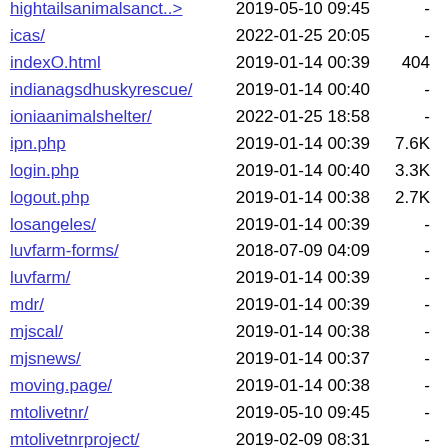| Name | Date | Size |
| --- | --- | --- |
| hightailsanimalsanct..> | 2019-05-10 09:45 | - |
| icas/ | 2022-01-25 20:05 | - |
| indexO.html | 2019-01-14 00:39 | 404 |
| indianagsdhuskyrescue/ | 2019-01-14 00:40 | - |
| ioniaanimalshelter/ | 2022-01-25 18:58 | - |
| ipn.php | 2019-01-14 00:39 | 7.6K |
| login.php | 2019-01-14 00:40 | 3.3K |
| logout.php | 2019-01-14 00:38 | 2.7K |
| losangeles/ | 2019-01-14 00:39 | - |
| luvfarm-forms/ | 2018-07-09 04:09 | - |
| luvfarm/ | 2019-01-14 00:39 | - |
| mdr/ | 2019-01-14 00:39 | - |
| mjscal/ | 2019-01-14 00:38 | - |
| mjsnews/ | 2019-01-14 00:37 | - |
| moving.page/ | 2019-01-14 00:38 | - |
| mtolivetnr/ | 2019-05-10 09:45 | - |
| mtolivetnrproject/ | 2019-02-09 08:31 | - |
| mytest/ | 2019-01-14 00:38 | - |
| ntnr/ | 2019-01-14 00:39 | - |
| paws/ | 2021-09-13 05:35 | - |